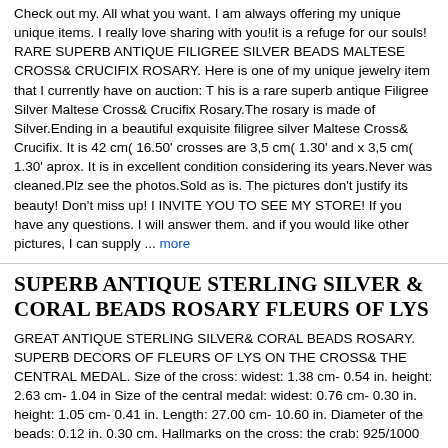Check out my. All what you want. I am always offering my unique unique items. I really love sharing with you!it is a refuge for our souls! RARE SUPERB ANTIQUE FILIGREE SILVER BEADS MALTESE CROSS& CRUCIFIX ROSARY. Here is one of my unique jewelry item that I currently have on auction: T his is a rare superb antique Filigree Silver Maltese Cross& Crucifix Rosary.The rosary is made of Silver.Ending in a beautiful exquisite filigree silver Maltese Cross& Crucifix. It is 42 cm( 16.50' crosses are 3,5 cm( 1.30' and x 3,5 cm( 1.30' aprox. It is in excellent condition considering its years.Never was cleaned.Plz see the photos.Sold as is. The pictures don't justify its beauty! Don't miss up! I INVITE YOU TO SEE MY STORE! If you have any questions. I will answer them. and if you would like other pictures, I can supply ... more
SUPERB ANTIQUE STERLING SILVER & CORAL BEADS ROSARY FLEURS OF LYS
GREAT ANTIQUE STERLING SILVER& CORAL BEADS ROSARY. SUPERB DECORS OF FLEURS OF LYS ON THE CROSS& THE CENTRAL MEDAL. Size of the cross: widest: 1.38 cm- 0.54 in. height: 2.63 cm- 1.04 in Size of the central medal: widest: 0.76 cm- 0.30 in. height: 1.05 cm- 0.41 in. Length: 27.00 cm- 10.60 in. Diameter of the beads: 0.12 in. 0.30 cm. Hallmarks on the cross: the crab: 925/1000 silver. Gorgeous antique condition! See my others items. I DO COMBINE MULTIPLE BUYS INTO ONE INVOICE TO SAVE ON SHIPPING FEES. SEE MY OTHERS ITEMS.
D 1910 SUPERB SAINT THERESE ROSE SHAPE BEADS ANTIQUE ROSARY
AMAZING & RARE ANTIQUE ROSARY. d. d 1910 THE BEADS ARE